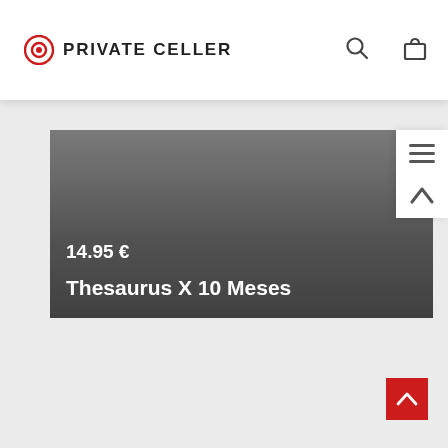[Figure (logo): Private Celler logo with red circle/target icon and text PRIVATE CELLER]
[Figure (screenshot): Website screenshot showing product card with dark grey background, price 14.95 € and title Thesaurus X 10 Meses in white text, with navigation bar containing search and shopping bag icons, and right sidebar with hamburger menu and up-arrow icons, and red scroll-to-top button at bottom right]